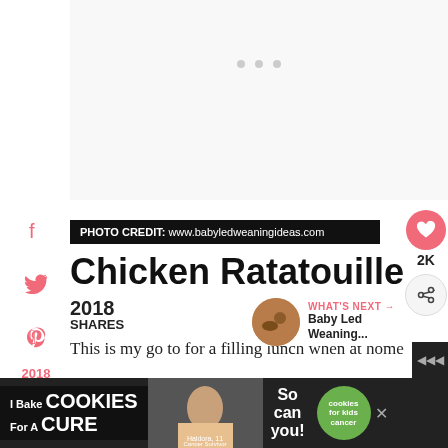[Figure (screenshot): Social media share sidebar with Facebook, Twitter, Pinterest icons and 2018 share count, email and WhatsApp icons on the left side of the page]
PHOTO CREDIT: www.babyledweaningideas.com
Chicken Ratatouille
2018
SHARES
[Figure (screenshot): WHAT'S NEXT → Baby Led Weaning... with circular thumbnail of food]
This is my go to for a filling lunch when at home
[Figure (screenshot): I Bake COOKIES For A CURE advertisement banner with Haldora, 11 Cancer Survivor and So can you! text and cookies for kids cancer logo]
[Figure (other): Right side floating action buttons: heart/save button with 2K count, and share button]